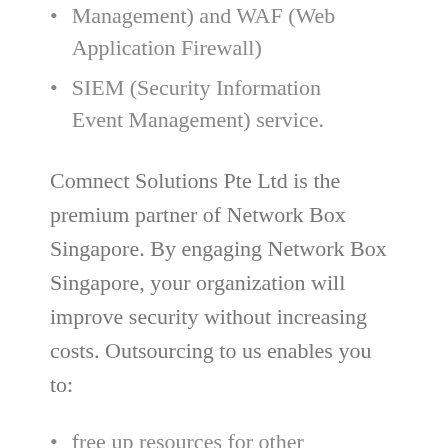Management) and WAF (Web Application Firewall)
SIEM (Security Information Event Management) service.
Comnect Solutions Pte Ltd is the premium partner of Network Box Singapore. By engaging Network Box Singapore, your organization will improve security without increasing costs. Outsourcing to us enables you to:
free up resources for other mission-critical purposes
maintain operational flexibility